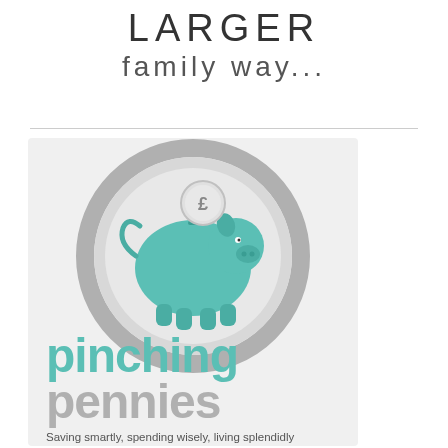LARGER family WAY...
[Figure (logo): Pinching Pennies logo: a teal piggy bank with a pound coin on top, inside a circular metallic frame, with text 'pinching pennies' and tagline 'Saving smartly, spending wisely, living splendidly']